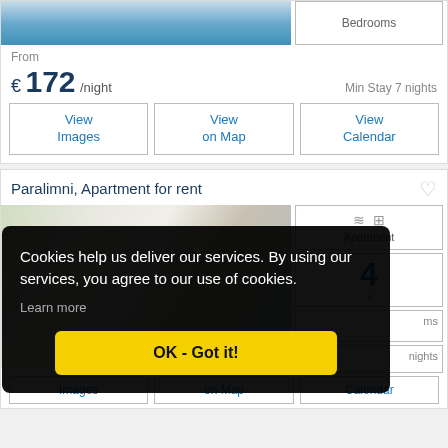[Figure (photo): Swimming pool area with chairs, top portion of property listing photo]
Bedrooms
From
€ 172 /night
Min Stay 7 nights
View Images
View on Map
View Calendar
Paralimni, Apartment for rent
[Figure (photo): White apartment building exterior with balconies and blue shutters]
Apartment
4
s
ms
nights
Cookies help us deliver our services. By using our services, you agree to our use of cookies.
Learn more
OK - Got it!
Images
on Map
Calendar